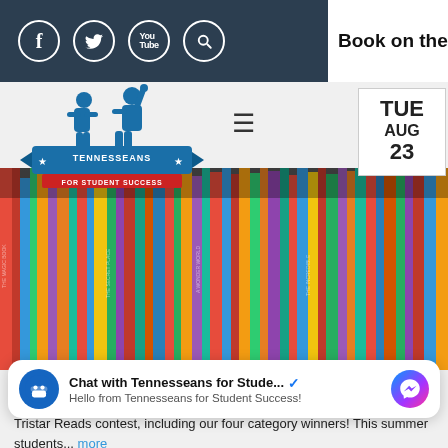[Figure (screenshot): Dark navy header bar with social media icons (Facebook, Twitter, YouTube, Search) in white circles, and partial text 'Book on the' on the right side]
[Figure (logo): Tennesseans for Student Success logo — blue silhouettes of children with raised arms above a banner reading TENNESSEANS FOR STUDENT SUCCESS]
≡
TUE
AUG
23
[Figure (photo): Colorful books arranged on shelves viewed from the side, showing spines of many different colored books]
Chat with Tennesseans for Stude... ✓
Hello from Tennesseans for Student Success!
Tristar Reads contest, including our four category winners! This summer students... more